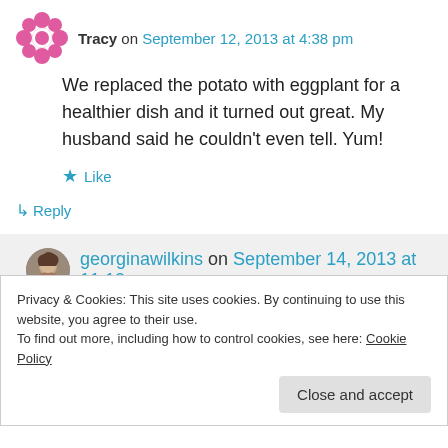Tracy on September 12, 2013 at 4:38 pm
We replaced the potato with eggplant for a healthier dish and it turned out great. My husband said he couldn't even tell. Yum!
Like
↳ Reply
georginawilkins on September 14, 2013 at 11:10 am
Privacy & Cookies: This site uses cookies. By continuing to use this website, you agree to their use. To find out more, including how to control cookies, see here: Cookie Policy
Close and accept
↳ Reply